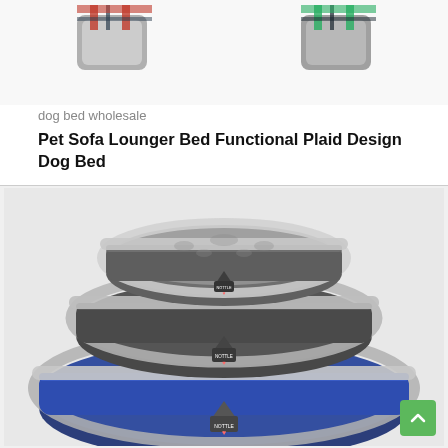[Figure (photo): Two stacked plaid design dog beds shown at top of page, partially cropped]
dog bed wholesale
Pet Sofa Lounger Bed Functional Plaid Design Dog Bed
[Figure (photo): Three navy blue and grey oval pet sofa lounger beds stacked on top of each other in graduated sizes, with grey sherpa lining and brand badge on front]